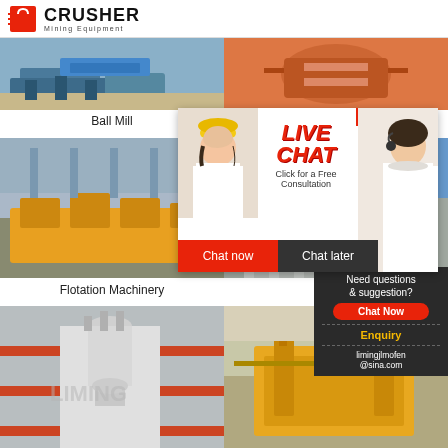[Figure (logo): Crusher Mining Equipment logo with red shopping bag icon and bold CRUSHER text]
[Figure (photo): Ball Mill industrial equipment photo]
[Figure (photo): Magnetic Separator industrial equipment photo]
Ball Mill
Magnetic Separator
[Figure (photo): Flotation Machinery yellow industrial equipment in factory]
[Figure (photo): Spiral classifier equipment photo]
Flotation Machinery
Spiral
[Figure (infographic): Live Chat overlay popup with 24Hrs Online banner, LIVE CHAT title, Click for a Free Consultation, Chat now and Chat later buttons, customer service agents]
[Figure (photo): Industrial plant building with white dust collection equipment]
[Figure (photo): Heavy machinery/crane equipment in outdoor setting]
[Figure (infographic): Sidebar panel: Need questions & suggestion? Chat Now button, Enquiry link, limingjlmofen@sina.com email]